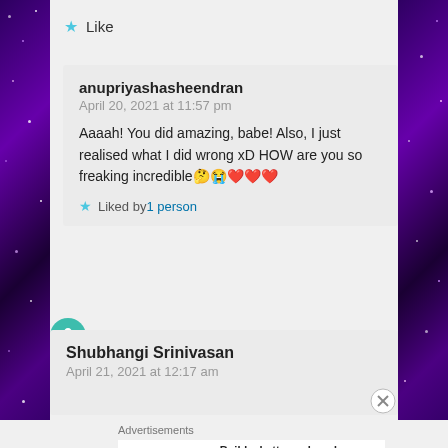Like
anupriyashasheendran
April 20, 2021 at 11:57 pm

Aaaah! You did amazing, babe! Also, I just realised what I did wrong xD HOW are you so freaking incredible🤔😭❤❤❤

★ Liked by 1 person
Shubhangi Srinivasan
April 21, 2021 at 12:17 am
Advertisements
AUTOMATTIC
Build a better web and a better world.